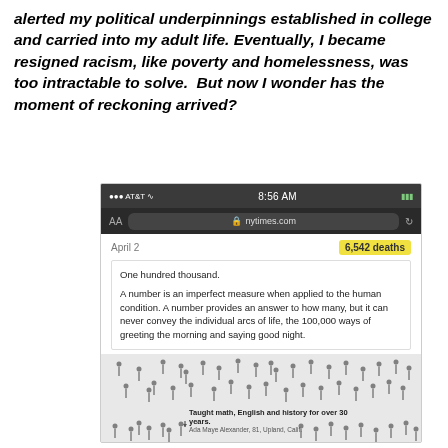alerted my political underpinnings established in college and carried into my adult life. Eventually, I became resigned racism, like poverty and homelessness, was too intractable to solve.  But now I wonder has the moment of reckoning arrived?
[Figure (screenshot): Screenshot of nytimes.com article on a mobile browser at 8:56 AM with AT&T signal. Shows 'April 2' date and '6,542 deaths' badge. Article text begins 'One hundred thousand. A number is an imperfect measure when applied to the human condition. A number provides an answer to how many, but it can never convey the individual arcs of life, the 100,000 ways of greeting the morning and saying good night.' Below is a visualization of human silhouettes with a caption: 'Taught math, English and history for over 30 years.' attributed to 'Ada Maye Alexander, 81, Upland, Calif.']